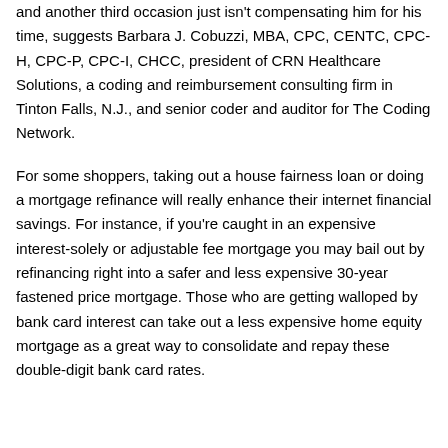and another third occasion just isn't compensating him for his time, suggests Barbara J. Cobuzzi, MBA, CPC, CENTC, CPC-H, CPC-P, CPC-I, CHCC, president of CRN Healthcare Solutions, a coding and reimbursement consulting firm in Tinton Falls, N.J., and senior coder and auditor for The Coding Network.
For some shoppers, taking out a house fairness loan or doing a mortgage refinance will really enhance their internet financial savings. For instance, if you're caught in an expensive interest-solely or adjustable fee mortgage you may bail out by refinancing right into a safer and less expensive 30-year fastened price mortgage. Those who are getting walloped by bank card interest can take out a less expensive home equity mortgage as a great way to consolidate and repay these double-digit bank card rates.